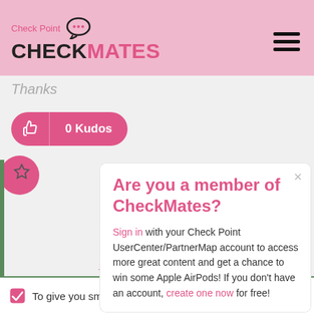Check Point CHECKMATES
Thanks
0 Kudos
Are you a member of CheckMates?
Sign in with your Check Point UserCenter/PartnerMap account to access more great content and get a chance to win some Apple AirPods! If you don't have an account, create one now for free!
In response to CyberBreaker
To give you smoe clarification on your